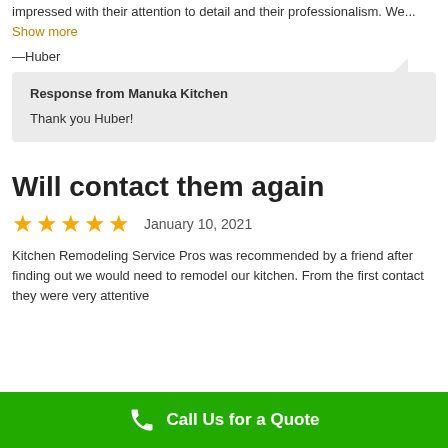impressed with their attention to detail and their professionalism. We... Show more
—Huber
Response from Manuka Kitchen
Thank you Huber!
Will contact them again
★★★★★ January 10, 2021
Kitchen Remodeling Service Pros was recommended by a friend after finding out we would need to remodel our kitchen. From the first contact they were very attentive...
Call Us for a Quote